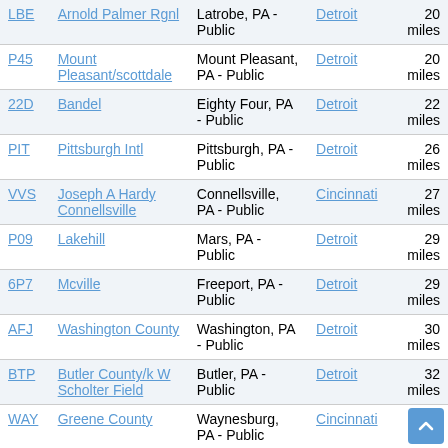| Code | Name | Location | Hub | Distance |
| --- | --- | --- | --- | --- |
| LBE | Arnold Palmer Rgnl | Latrobe, PA - Public | Detroit | 20 miles |
| P45 | Mount Pleasant/scottdale | Mount Pleasant, PA - Public | Detroit | 20 miles |
| 22D | Bandel | Eighty Four, PA - Public | Detroit | 22 miles |
| PIT | Pittsburgh Intl | Pittsburgh, PA - Public | Detroit | 26 miles |
| VVS | Joseph A Hardy Connellsville | Connellsville, PA - Public | Cincinnati | 27 miles |
| P09 | Lakehill | Mars, PA - Public | Detroit | 29 miles |
| 6P7 | Mcville | Freeport, PA - Public | Detroit | 29 miles |
| AFJ | Washington County | Washington, PA - Public | Detroit | 30 miles |
| BTP | Butler County/k W Scholter Field | Butler, PA - Public | Detroit | 32 miles |
| WAY | Greene County | Waynesburg, PA - Public | Cincinnati | 35 miles |
| 3G9 | Butler Farm Show | Butler, PA - Public | Detroit | 37 miles |
| PJC | Zelienople Muni | Zelienople, PA - Public | Detroit | 38 miles |
| IDI | Indiana County/jimmy | Indiana, PA - Public | Detroit | 41 miles |